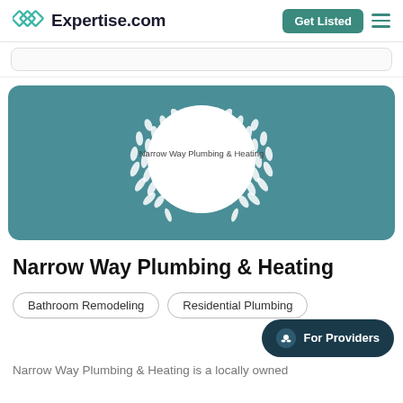Expertise.com
[Figure (logo): Expertise.com logo with teal diamond/infinity icon and bold text]
[Figure (illustration): Teal card with laurel wreath award badge. White circle in center with text 'Narrow Way Plumbing & Heating'. White leaf laurel branches on both sides.]
Narrow Way Plumbing & Heating
Bathroom Remodeling
Residential Plumbing
Narrow Way Plumbing & Heating is a locally owned